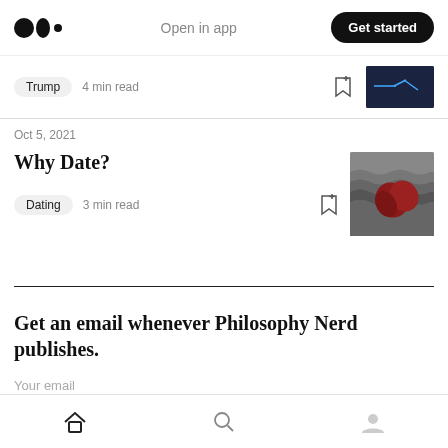Medium logo | Open in app | Get started
Trump  4 min read
Oct 5, 2021
Why Date?
Dating  3 min read
Get an email whenever Philosophy Nerd publishes.
Your email
Home | Search | Profile